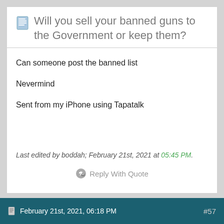Will you sell your banned guns to the Government or keep them?
Can someone post the banned list

Nevermind

Sent from my iPhone using Tapatalk
Last edited by boddah; February 21st, 2021 at 05:45 PM.
Reply With Quote
February 21st, 2021, 06:18 PM  #57